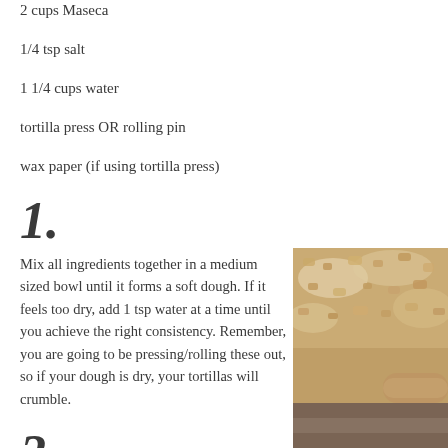2 cups Maseca
1/4 tsp salt
1 1/4 cups water
tortilla press OR rolling pin
wax paper (if using tortilla press)
1.
Mix all ingredients together in a medium sized bowl until it forms a soft dough. If it feels too dry, add 1 tsp water at a time until you achieve the right consistency. Remember, you are going to be pressing/rolling these out, so if your dough is dry, your tortillas will crumble.
[Figure (photo): Close-up photo of crumbly masa dough mixture with flour and corn pieces on a surface, with a rolling pin visible at the bottom right.]
2.